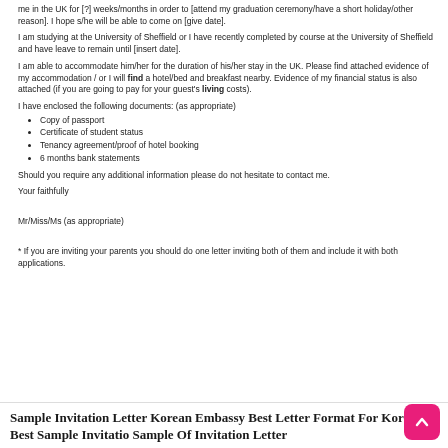me in the UK for [?] weeks/months in order to [attend my graduation ceremony/have a short holiday/other reason].  I hope s/he will be able to come on [give date].
I am studying at the University of Sheffield or I have recently completed by course at the University of Sheffield and have leave to remain until [insert date].
I am able to accommodate him/her for the duration of his/her stay in the UK. Please find attached evidence of my accommodation / or I will find a hotel/bed and breakfast nearby.  Evidence of my financial status is also attached (if you are going to pay for your guest's living costs).
I have enclosed the following documents: (as appropriate)
Copy of passport
Certificate of student status
Tenancy agreement/proof of hotel booking
6 months bank statements
Should you require any additional information please do not hesitate to contact me.
Your faithfully
Mr/Miss/Ms (as appropriate)
* If you are inviting your parents you should do one letter inviting both of them and include it with both applications.
Sample Invitation Letter Korean Embassy Best Letter Format For Korean Best Sample Invitatio Sample Of Invitation Letter